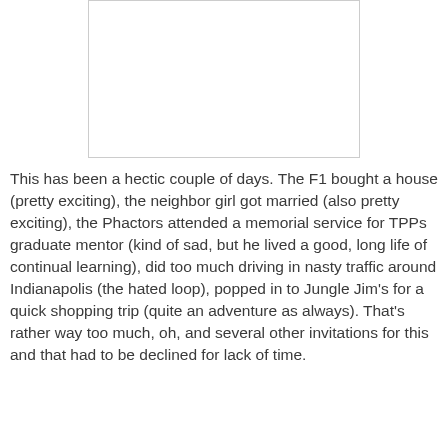[Figure (other): Blank white image placeholder with light gray border]
This has been a hectic couple of days.  The F1 bought a house (pretty exciting), the neighbor girl got married (also pretty exciting), the Phactors attended a memorial service for TPPs graduate mentor (kind of sad, but he lived a good, long life of continual learning), did too much driving in nasty traffic around Indianapolis (the hated loop), popped in to Jungle Jim's for a quick shopping trip (quite an adventure as always).  That's rather way too much, oh, and several other invitations for this and that had to be declined for lack of time.